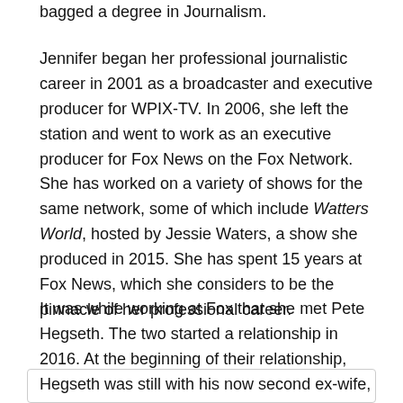bagged a degree in Journalism.
Jennifer began her professional journalistic career in 2001 as a broadcaster and executive producer for WPIX-TV. In 2006, she left the station and went to work as an executive producer for Fox News on the Fox Network. She has worked on a variety of shows for the same network, some of which include Watters World, hosted by Jessie Waters, a show she produced in 2015. She has spent 15 years at Fox News, which she considers to be the pinnacle of her professional career.
It was while working at Fox that she met Pete Hegseth. The two started a relationship in 2016. At the beginning of their relationship, Hegseth was still with his now second ex-wife, a fact that thrust Rauchet into the public eye.